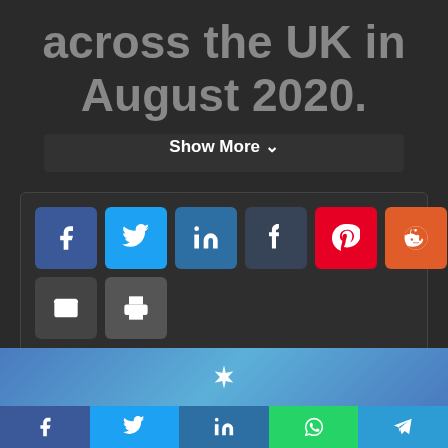across the UK in August 2020.
Show More
[Figure (screenshot): Social media share buttons: Facebook, Twitter, LinkedIn, Tumblr, Pinterest, Reddit, VK, WhatsApp, Email, Print]
[Figure (screenshot): Bottom banner with star/asterisk icon and bottom bar with Facebook, Twitter, LinkedIn, WhatsApp, Telegram share buttons]